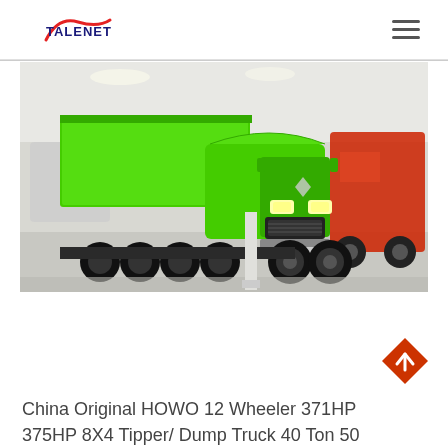TALENET
[Figure (photo): Green HOWO 12-wheeler dump truck displayed in an exhibition hall, front-three-quarter view showing bright green cab and tipper body, with other trucks visible in the background]
China Original HOWO 12 Wheeler 371HP 375HP 8X4 Tipper/ Dump Truck 40 Ton 50